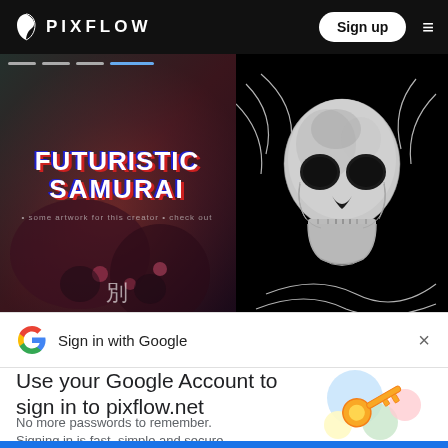PIXFLOW
[Figure (screenshot): Left panel showing futuristic tattoo artwork background with glitch text reading FUTURISTIC SAMURAI and a Japanese kanji character at the bottom]
[Figure (illustration): Right panel showing a detailed white/grey skull illustration on black background with flowing white lines radiating from behind the skull]
Sign in with Google
Use your Google Account to sign in to pixflow.net
No more passwords to remember. Signing in is fast, simple and secure.
[Figure (illustration): Google sign-in key illustration with colorful circles (blue, yellow, green, red) and a gold key icon]